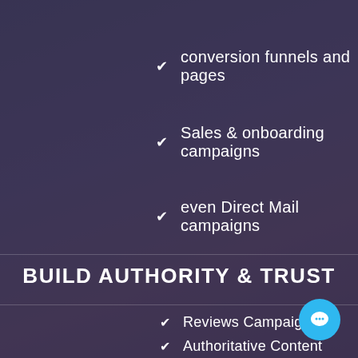conversion funnels and pages
Sales & onboarding campaigns
even Direct Mail campaigns
BUILD AUTHORITY & TRUST
Reviews Campaigns
Authoritative Content